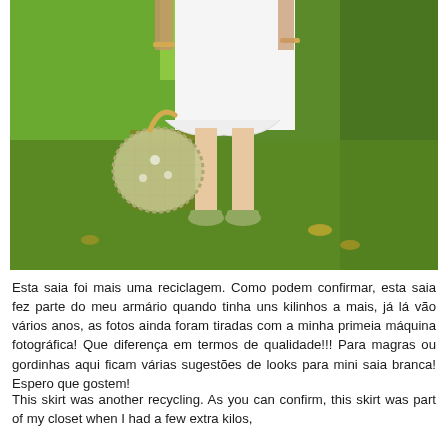[Figure (photo): Outdoor photo showing the lower body of a person wearing a white mini skirt and green sandals, holding a decorative crocheted bag, standing on green grass in a garden setting.]
Esta saia foi mais uma reciclagem. Como podem confirmar, esta saia fez parte do meu armário quando tinha uns kilinhos a mais, já lá vão vários anos, as fotos ainda foram tiradas com a minha primeia máquina fotográfica! Que diferença em termos de qualidade!!! Para magras ou gordinhas aqui ficam várias sugestões de looks para mini saia branca! Espero que gostem!
This skirt was another recycling. As you can confirm, this skirt was part of my closet when I had a few extra kilos,